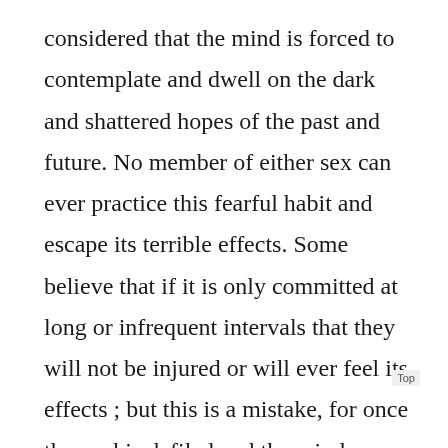considered that the mind is forced to contemplate and dwell on the dark and shattered hopes of the past and future. No member of either sex can ever practice this fearful habit and escape its terrible effects. Some believe that if it is only committed at long or infrequent intervals that they will not be injured or will ever feel its effects ; but this is a mistake, for once the soul is defiled and the mind contaminated the passions become the master and the man or woman the slave until they are cured. Many a young man and woman know to their sorrow the truth of the above